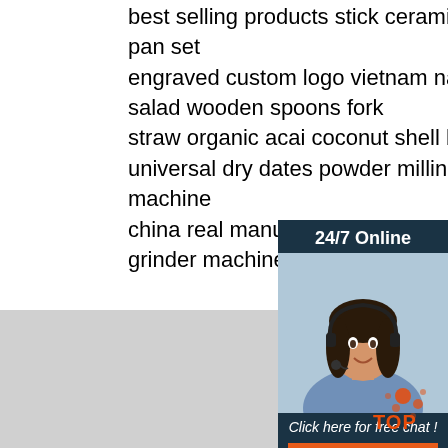best selling products stick ceramic aluminum kitchen fry pan set engraved custom logo vietnam natural handmade candle salad wooden spoons fork straw organic acai coconut shell bo universal dry dates powder milling pulverizer crushing machine china real manufacturer automatic shredder grinding grinder machine
[Figure (illustration): Customer service representative with headset, 24/7 Online chat widget with 'Click here for free chat!' text and orange QUOTATION button]
Copyright © Aughta Technology (Shenzh Sitemap | carbon steel material frypa marble coating frying pan high quality wuth cheap price pans hot cookware | 1 0l electric multi cooker | high quality touch screen smart simple appearance design oil free large firepower air fryer